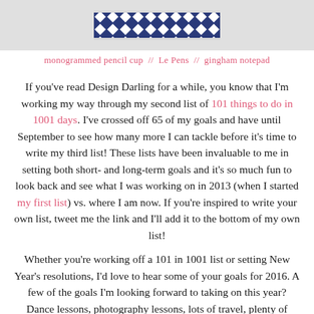[Figure (photo): Photo strip showing a decorative item with navy blue diamond/gingham pattern against a light grey background]
monogrammed pencil cup  //  Le Pens  //  gingham notepad
If you've read Design Darling for a while, you know that I'm working my way through my second list of 101 things to do in 1001 days. I've crossed off 65 of my goals and have until September to see how many more I can tackle before it's time to write my third list! These lists have been invaluable to me in setting both short- and long-term goals and it's so much fun to look back and see what I was working on in 2013 (when I started my first list) vs. where I am now. If you're inspired to write your own list, tweet me the link and I'll add it to the bottom of my own list!
Whether you're working off a 101 in 1001 list or setting New Year's resolutions, I'd love to hear some of your goals for 2016. A few of the goals I'm looking forward to taking on this year? Dance lessons, photography lessons, lots of travel, plenty of house projects, and